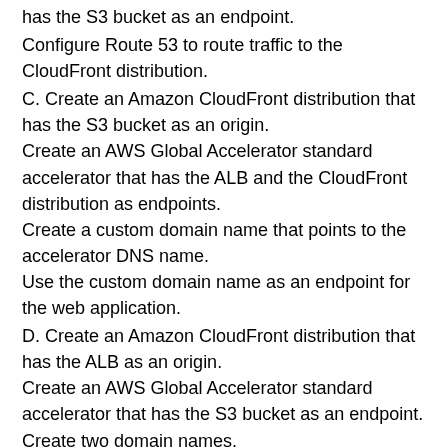has the S3 bucket as an endpoint.
Configure Route 53 to route traffic to the CloudFront distribution.
C. Create an Amazon CloudFront distribution that has the S3 bucket as an origin.
Create an AWS Global Accelerator standard accelerator that has the ALB and the CloudFront distribution as endpoints.
Create a custom domain name that points to the accelerator DNS name.
Use the custom domain name as an endpoint for the web application.
D. Create an Amazon CloudFront distribution that has the ALB as an origin.
Create an AWS Global Accelerator standard accelerator that has the S3 bucket as an endpoint.
Create two domain names.
Point one domain name to the CloudFront DNS name for dynamic content.